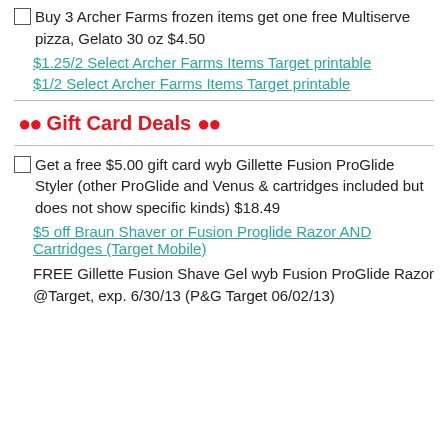Buy 3 Archer Farms frozen items get one free Multiserve pizza, Gelato 30 oz $4.50
$1.25/2 Select Archer Farms Items Target printable
$1/2 Select Archer Farms Items Target printable
🔴🔴 Gift Card Deals 🔴🔴
Get a free $5.00 gift card wyb Gillette Fusion ProGlide Styler (other ProGlide and Venus & cartridges included but does not show specific kinds) $18.49
$5 off Braun Shaver or Fusion Proglide Razor AND Cartridges (Target Mobile)
FREE Gillette Fusion Shave Gel wyb Fusion ProGlide Razor @Target, exp. 6/30/13 (P&G Target 06/02/13)